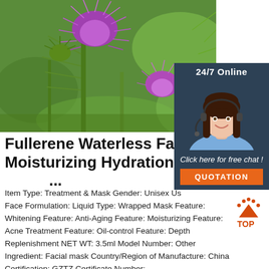[Figure (photo): Close-up photo of purple thistle flowers with green spiky stems against a blurred green background]
[Figure (photo): Chat support widget showing a woman with headset, '24/7 Online', 'Click here for free chat!' text, and an orange QUOTATION button]
Fullerene Waterless Face Mask Moisturizing Hydration Anti ...
Item Type: Treatment & Mask Gender: Unisex Use: Face Formulation: Liquid Type: Wrapped Mask Feature: Whitening Feature: Anti-Aging Feature: Moisturizing Feature: Acne Treatment Feature: Oil-control Feature: Depth Replenishment NET WT: 3.5ml Model Number: Other Ingredient: Facial mask Country/Region of Manufacture: China Certification: GZTZ Certificate Number: ...
[Figure (logo): Orange TOP badge/logo with dotted arc above text]